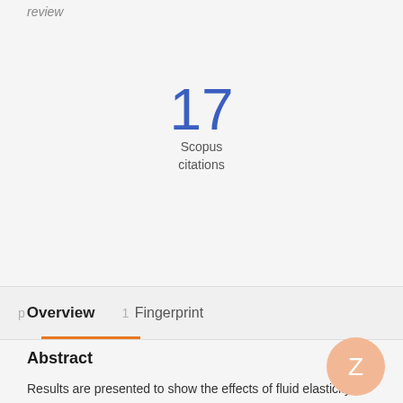review
17
Scopus citations
p Overview   1 Fingerprint
Abstract
Results are presented to show the effects of fluid elasticity